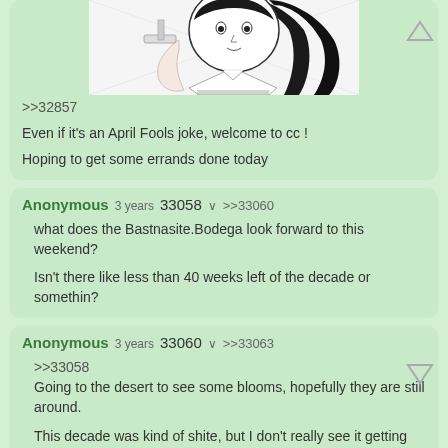[Figure (illustration): Partial manga-style illustration showing a girl with long black hair holding something, wearing a school uniform with a plaid skirt]
>>32857

Even if it's an April Fools joke, welcome to cc !

Hoping to get some errands done today
Anonymous 3 years  33058  >>33060

what does the Bastnasite.Bodega look forward to this weekend?

Isn't there like less than 40 weeks left of the decade or somethin?
Anonymous 3 years  33060  >>33063

>>33058
Going to the desert to see some blooms, hopefully they are still around.

This decade was kind of shite, but I don't really see it getting much better for the next one.
Anonymous 3 years  33063  >>33121

>>33060